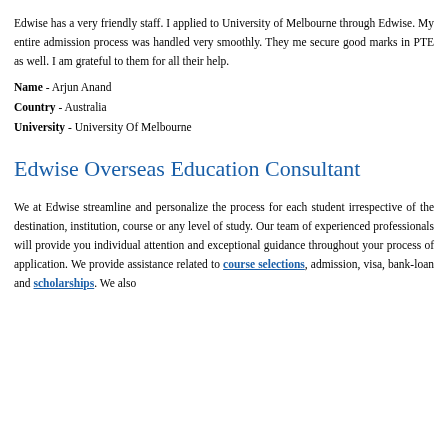Edwise has a very friendly staff. I applied to University of Melbourne through Edwise. My entire admission process was handled very smoothly. They me secure good marks in PTE as well. I am grateful to them for all their help.
Name - Arjun Anand
Country - Australia
University - University Of Melbourne
Edwise Overseas Education Consultant
We at Edwise streamline and personalize the process for each student irrespective of the destination, institution, course or any level of study. Our team of experienced professionals will provide you individual attention and exceptional guidance throughout your process of application. We provide assistance related to course selections, admission, visa, bank-loan and scholarships. We also